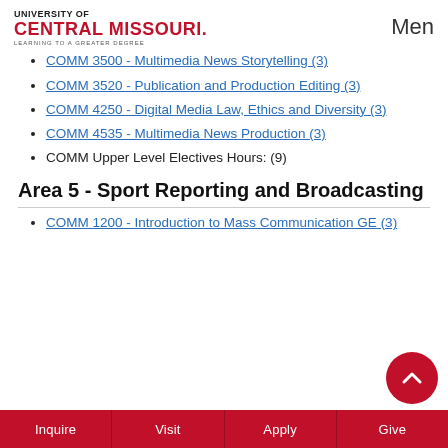UNIVERSITY OF CENTRAL MISSOURI — LEARNING TO A GREATER DEGREE | Menu
COMM 3500 - Multimedia News Storytelling (3)
COMM 3520 - Publication and Production Editing (3)
COMM 4250 - Digital Media Law, Ethics and Diversity (3)
COMM 4535 - Multimedia News Production (3)
COMM Upper Level Electives Hours: (9)
Area 5 - Sport Reporting and Broadcasting
COMM 1200 - Introduction to Mass Communication GE (3)
Inquire | Visit | Apply | Give